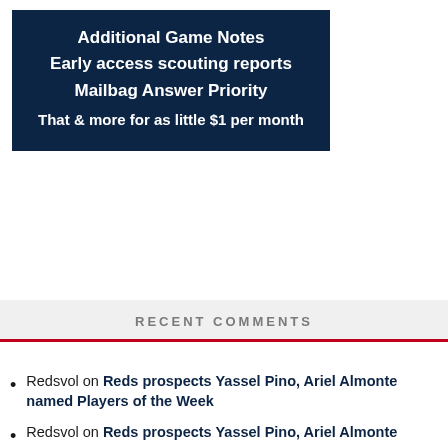[Figure (infographic): Dark navy blue promotional box with white bold text listing membership benefits: Additional Game Notes, Early access scouting reports, Mailbag Answer Priority, That & more for as little $1 per month]
RECENT COMMENTS
Redsvol on Reds prospects Yassel Pino, Ariel Almonte named Players of the Week
Redsvol on Reds prospects Yassel Pino, Ariel Almonte